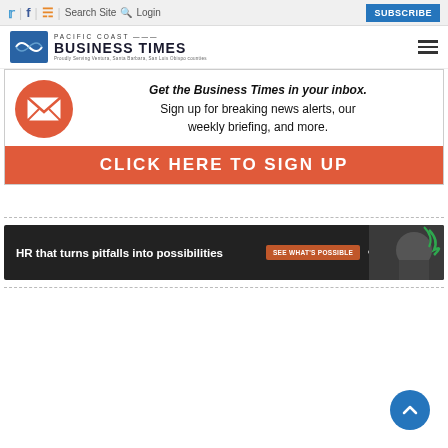Twitter | Facebook | RSS | Search Site | Login | SUBSCRIBE
[Figure (logo): Pacific Coast Business Times logo with navigation hamburger menu]
[Figure (infographic): Newsletter signup banner: Get the Business Times in your inbox. Sign up for breaking news alerts, our weekly briefing, and more. CLICK HERE TO SIGN UP]
[Figure (infographic): Insperity advertisement: HR that turns pitfalls into possibilities. See what's possible button.]
[Figure (other): Back to top circular blue button with upward chevron]